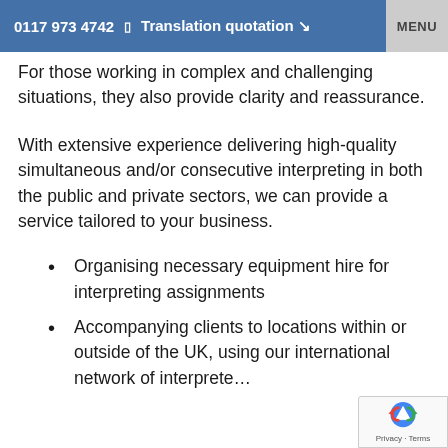0117 973 4742  Translation quotation  MENU
For those working in complex and challenging situations, they also provide clarity and reassurance.
With extensive experience delivering high-quality simultaneous and/or consecutive interpreting in both the public and private sectors, we can provide a service tailored to your business.
Organising necessary equipment hire for interpreting assignments
Accompanying clients to locations within or outside of the UK, using our international network of interpreters